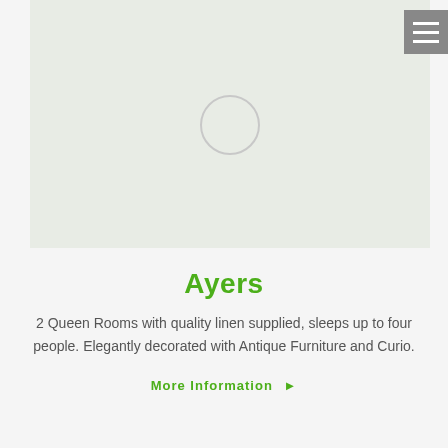[Figure (photo): Image placeholder with light green/grey background and a loading spinner circle in the center]
Ayers
2 Queen Rooms with quality linen supplied, sleeps up to four people. Elegantly decorated with Antique Furniture and Curio.
More Information ▶